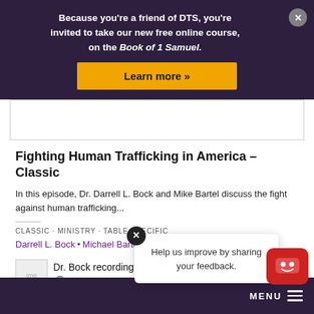Because you're a friend of DTS, you're invited to take our new free online course, on the Book of 1 Samuel.
Learn more »
Fighting Human Trafficking in America – Classic
In this episode, Dr. Darrell L. Bock and Mike Bartel discuss the fight against human trafficking...
CLASSIC · MINISTRY · TABLE SPECIFIC
Darrell L. Bock • Michael Bartel   August 29, 2017
[Figure (photo): Dr. Bock recording The Table podcast]
Help us improve by sharing your feedback.